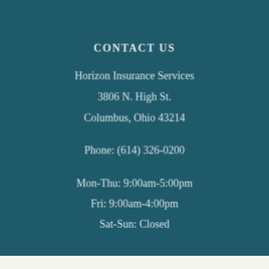CONTACT US
Horizon Insurance Services
3806 N. High St.
Columbus, Ohio 43214
Phone: (614) 326-0200
Mon-Thu: 9:00am-5:00pm
Fri: 9:00am-4:00pm
Sat-Sun: Closed
[Figure (infographic): Three orange square icon buttons: map pin/location icon, Yelp icon, and Facebook icon]